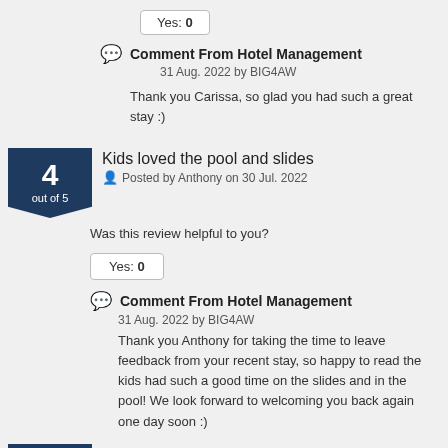Yes: 0
Comment From Hotel Management
31 Aug. 2022 by BIG4AW
Thank you Carissa, so glad you had such a great stay :)
Kids loved the pool and slides
Posted by Anthony on 30 Jul. 2022
Was this review helpful to you?
Yes: 0
Comment From Hotel Management
31 Aug. 2022 by BIG4AW
Thank you Anthony for taking the time to leave feedback from your recent stay, so happy to read the kids had such a good time on the slides and in the pool! We look forward to welcoming you back again one day soon :)
Amazing heated pool and the kids loved the slides. Very